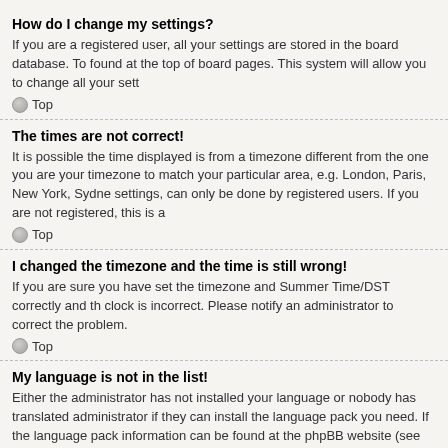How do I change my settings?
If you are a registered user, all your settings are stored in the board database. To found at the top of board pages. This system will allow you to change all your sett
Top
The times are not correct!
It is possible the time displayed is from a timezone different from the one you are your timezone to match your particular area, e.g. London, Paris, New York, Sydne settings, can only be done by registered users. If you are not registered, this is a
Top
I changed the timezone and the time is still wrong!
If you are sure you have set the timezone and Summer Time/DST correctly and th clock is incorrect. Please notify an administrator to correct the problem.
Top
My language is not in the list!
Either the administrator has not installed your language or nobody has translated administrator if they can install the language pack you need. If the language pack information can be found at the phpBB website (see link at the bottom of board pa
Top
How do I show an image along with my username?
There are two images which may appear along with a username when viewing po generally in the form of stars, blocks or dots, indicating how many posts you have